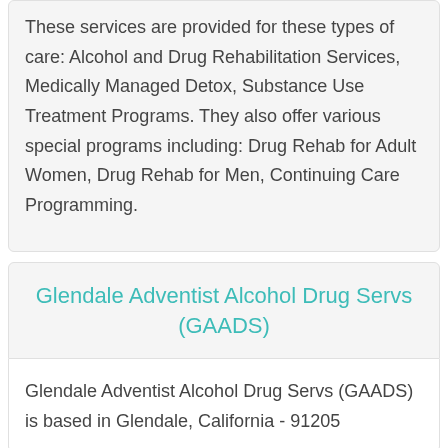These services are provided for these types of care: Alcohol and Drug Rehabilitation Services, Medically Managed Detox, Substance Use Treatment Programs. They also offer various special programs including: Drug Rehab for Adult Women, Drug Rehab for Men, Continuing Care Programming.
Glendale Adventist Alcohol Drug Servs (GAADS)
Glendale Adventist Alcohol Drug Servs (GAADS) is based in Glendale, California - 91205